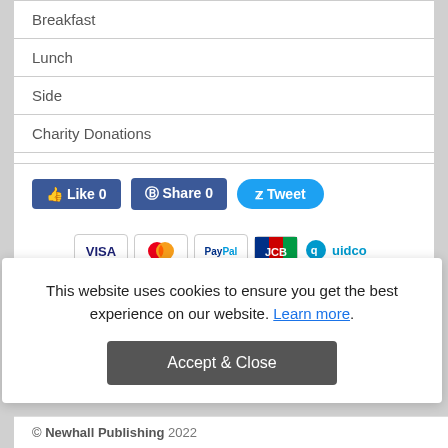Breakfast
Lunch
Side
Charity Donations
[Figure (other): Social sharing buttons: Like 0 (Facebook), Share 0 (Facebook), Tweet (Twitter)]
[Figure (other): Payment method logos: VISA, Mastercard, PayPal, JCB, Quidco]
This website uses cookies to ensure you get the best experience on our website. Learn more.
Accept & Close
© Newhall Publishing 2022